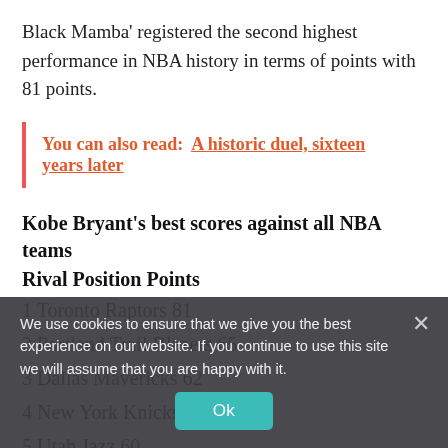Black Mamba' registered the second highest performance in NBA history in terms of points with 81 points.
You can also read:  A historic duel, sixteen years later
Kobe Bryant's best scores against all NBA teams
| Rival | Position | Points |
| --- | --- | --- |
| Toronto Raptors | 1 | 81 |
| Portland Trail Blazers | 2 | 65 |
| Dallas Mavericks | 3 | 62 |
| New York Knicks | 4 | 61 |
| Utah Jazz | 5 | 60 |
| Memphis Grizzlies | 6 | 60 |
We use cookies to ensure that we give you the best experience on our website. If you continue to use this site we will assume that you are happy with it.